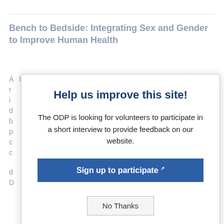Bench to Bedside: Integrating Sex and Gender to Improve Human Health
A... learning course to explore sex and gender r... i... d... b... p... c... c... d... D...
Help us improve this site!
The ODP is looking for volunteers to participate in a short interview to provide feedback on our website.
Sign up to participate
No Thanks